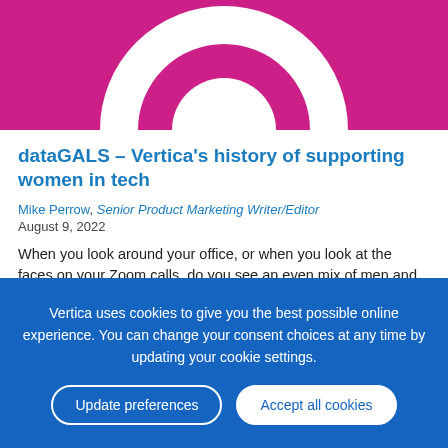[Figure (illustration): Pink/magenta hero banner with a white circular logo or ring graphic (Vertica branding) partially visible at top]
dataGALS – Vertica's history of supporting women in tech
Mike Perrow, Senior Product Marketing Writer/Editor
August 9, 2022
When you look around your office, or when you look at the faces on your Zoom calls, do you see an even mix of men and women? If yours is like most organizations in the technology sector, women occupy only about 25% of the jobs, according to a recent
Vertica uses cookies to give you the best possible online experience. You can change your consent choices at any time by updating your cookie settings.